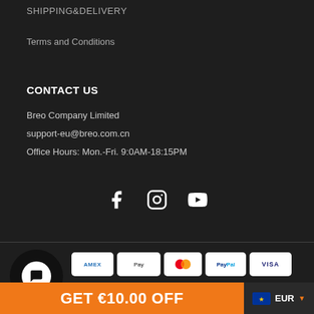SHIPPING&DELIVERY
Terms and Conditions
CONTACT US
Breo Company Limited
support-eu@breo.com.cn
Office Hours: Mon.-Fri. 9:0AM-18:15PM
[Figure (illustration): Social media icons: Facebook, Instagram, YouTube]
[Figure (illustration): Payment method icons: Amex, Apple Pay, Mastercard, PayPal, Visa]
GET €10.00 OFF